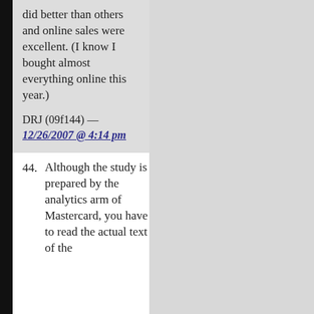did better than others and online sales were excellent. (I know I bought almost everything online this year.)
DRJ (09f144) — 12/26/2007 @ 4:14 pm
44. Although the study is prepared by the analytics arm of Mastercard, you have to read the actual text of the